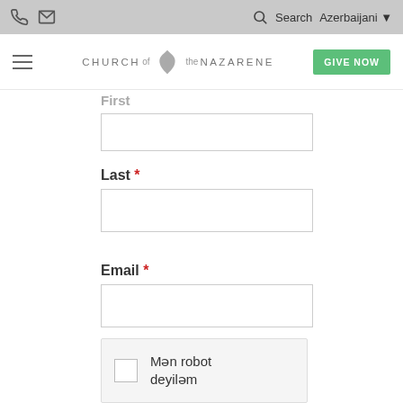Church of the Nazarene website header with navigation icons, search, Azerbaijani language selector, hamburger menu, logo, and GIVE NOW button
First *
Last *
Email *
Mən robot deyiləm